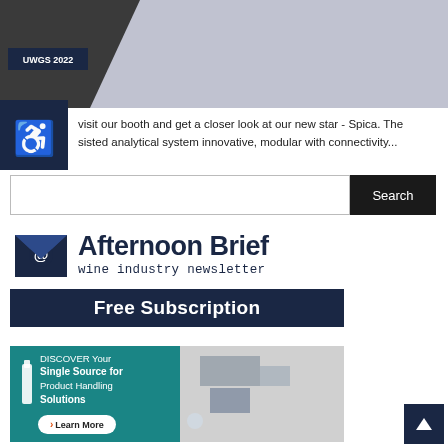[Figure (screenshot): Top banner image showing a dark angled shape against a light purple/grey background, with UWGS 2022 badge overlay]
[Figure (logo): Accessibility wheelchair icon in white on dark navy square background]
visit our booth and get a closer look at our new star - Spica. The sisted analytical system innovative, modular with connectivity...
[Figure (screenshot): Search bar with white input field and black Search button]
[Figure (infographic): Afternoon Brief wine industry newsletter - Free Subscription banner with envelope icon and @ symbol]
[Figure (infographic): DISCOVER Your Single Source for Product Handling Solutions advertisement with teal background, wine bottle icon, and industrial equipment image, Learn More button]